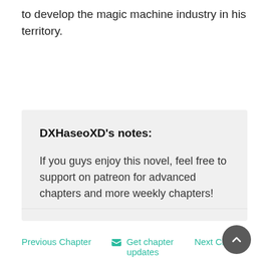to develop the magic machine industry in his territory.
DXHaseoXD's notes:
If you guys enjoy this novel, feel free to support on patreon for advanced chapters and more weekly chapters!
Previous Chapter   Get chapter updates   Next Chapter